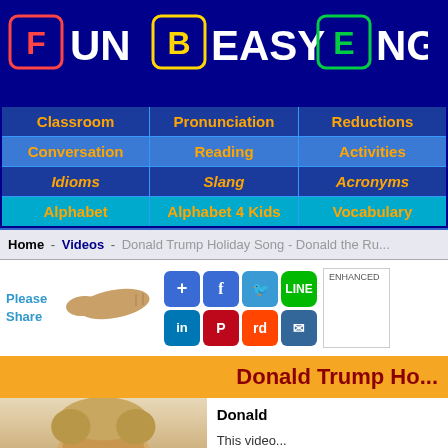[Figure (logo): Fun Easy English website logo with colorful letter cubes on dark blue background]
| Classroom | Pronunciation | Reductions |
| --- | --- | --- |
| Conversation | Reading | Activities |
| Idioms | Slang | Acronyms |
| Alphabet | Alphabet 4 Kids | Vocabulary |
Home - Videos - Donald Trump Holiday Song - Donald the Ru...
Please Share
[Figure (infographic): Social share buttons: add, Facebook, Twitter, Line, LinkedIn, Pinterest, Reddit, email]
Donald Trump Ho...
Donald
This video... holiday so...